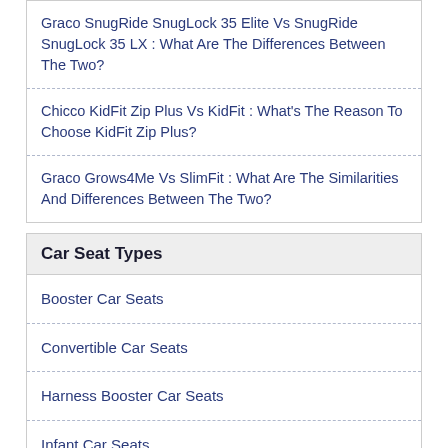Graco SnugRide SnugLock 35 Elite Vs SnugRide SnugLock 35 LX : What Are The Differences Between The Two?
Chicco KidFit Zip Plus Vs KidFit : What's The Reason To Choose KidFit Zip Plus?
Graco Grows4Me Vs SlimFit : What Are The Similarities And Differences Between The Two?
Car Seat Types
Booster Car Seats
Convertible Car Seats
Harness Booster Car Seats
Infant Car Seats
Travel Systems